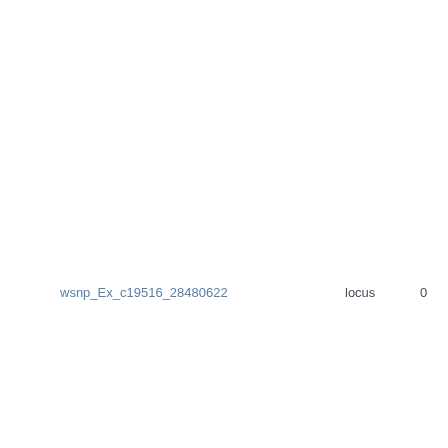NAM12-BxCltr112
Wheat ABD - Wheat NAM5-Berkut-x-PI - Wheat-2018-NAM BxPI382150_2A
Wheat ABD - Wheat NAM24-Berkut-x-PI192147 - Wheat NAM24-BxPI19214
Wheat ABD - Wheat NAM10-Berkut-x-PI Wheat-2018-NAM BxPI9791_2A
wsnp_Ex_c19516_28480622
locus
0
Wheat ABD - Wheat NAM26-Berkut-x-PI185715 - Wheat NAM26-BxPI1857
Wheat ABD - Wheat NAM27-Berkut-x-PI192569 - Wheat NAM27-BxPI19256
Wheat ABD - Wheat_2014_90K Wheat_2014_90K
Wheat ABD - Wheat